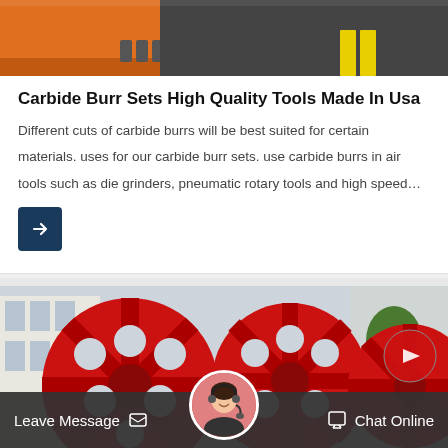[Figure (photo): Top portion of a photo showing industrial setting with orange equipment and yellow line on dark floor]
Carbide Burr Sets High Quality Tools Made In Usa
Different cuts of carbide burrs will be best suited for certain materials. uses for our carbide burr sets. use carbide burrs in air tools such as die grinders, pneumatic rotary tools and high speed…
[Figure (other): Dark blue button with right arrow icon]
[Figure (photo): Large red industrial gear/wheel structures outside a building]
Leave Message   Chat Online